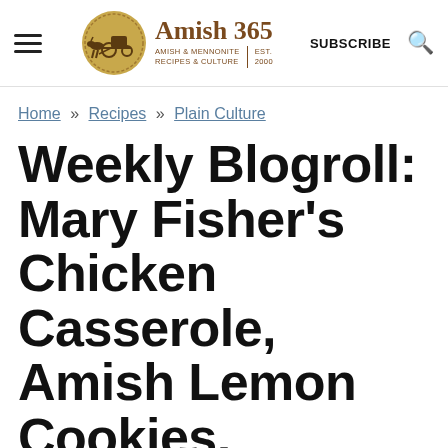Amish 365 — AMISH & MENNONITE RECIPES & CULTURE | EST. 2000 — SUBSCRIBE
Home » Recipes » Plain Culture
Weekly Blogroll: Mary Fisher's Chicken Casserole, Amish Lemon Cookies, Home Joys
Home Joys